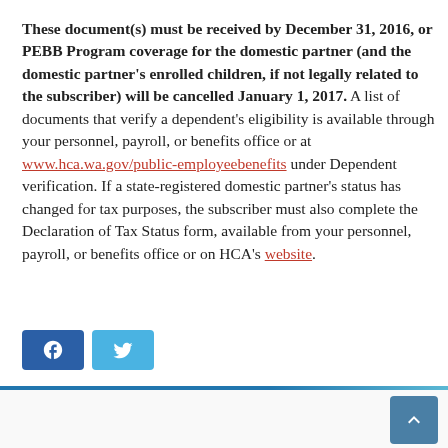These document(s) must be received by December 31, 2016, or PEBB Program coverage for the domestic partner (and the domestic partner's enrolled children, if not legally related to the subscriber) will be cancelled January 1, 2017. A list of documents that verify a dependent's eligibility is available through your personnel, payroll, or benefits office or at www.hca.wa.gov/public-employeebenefits under Dependent verification. If a state-registered domestic partner's status has changed for tax purposes, the subscriber must also complete the Declaration of Tax Status form, available from your personnel, payroll, or benefits office or on HCA's website.
[Figure (other): Social sharing buttons: Facebook (blue) and Twitter (light blue)]
Previous: 2016 RPEC Convention Photos | Next: 401(k)s: America's Failed